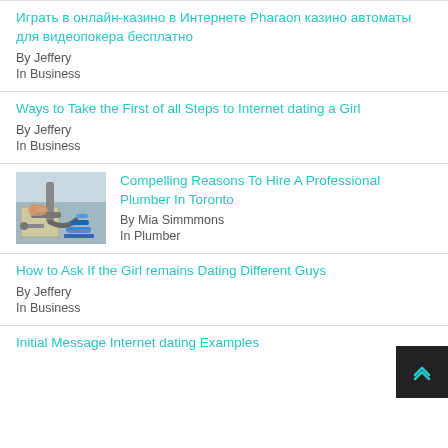Играть в онлайн-казино в Интернете Pharaon казино автоматы для видеопокера бесплатно
By Jeffery
In Business
Ways to Take the First of all Steps to Internet dating a Girl
By Jeffery
In Business
[Figure (photo): Plumber working under sink with tools and pipes]
Compelling Reasons To Hire A Professional Plumber In Toronto
By Mia Simmmons
In Plumber
How to Ask If the Girl remains Dating Different Guys
By Jeffery
In Business
Initial Message Internet dating Examples